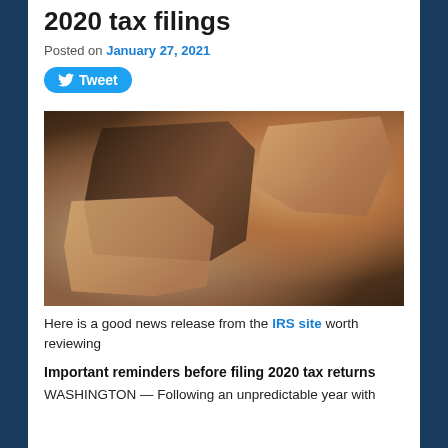2020 tax filings
Posted on January 27, 2021
[Figure (illustration): Tweet button (Twitter share button with bird icon)]
[Figure (photo): Hands holding open an empty brown leather wallet against a dark background]
Here is a good news release from the IRS site worth reviewing
Important reminders before filing 2020 tax returns
WASHINGTON — Following an unpredictable year with